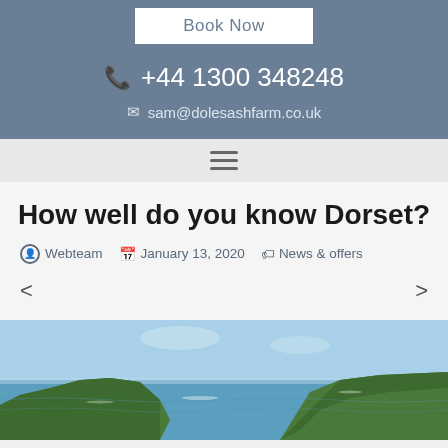Book Now
+44 1300 348248
sam@dolesashfarm.co.uk
[Figure (other): Hamburger menu icon (three horizontal lines)]
How well do you know Dorset?
Webteam  January 13, 2020  News & offers
[Figure (photo): Coastal landscape photograph showing green cliffs, sea, and blue sky in Dorset]